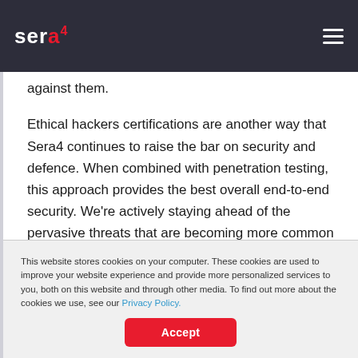sera4
against them.
Ethical hackers certifications are another way that Sera4 continues to raise the bar on security and defence. When combined with penetration testing, this approach provides the best overall end-to-end security. We're actively staying ahead of the pervasive threats that are becoming more common every day.
This website stores cookies on your computer. These cookies are used to improve your website experience and provide more personalized services to you, both on this website and through other media. To find out more about the cookies we use, see our Privacy Policy.